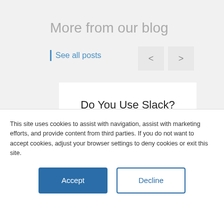More from our blog
See all posts
Do You Use Slack? Check Out Our boberdoo Webhooks For Slack Integration
This site uses cookies to assist with navigation, assist with marketing efforts, and provide content from third parties. If you do not want to accept cookies, adjust your browser settings to deny cookies or exit this site.